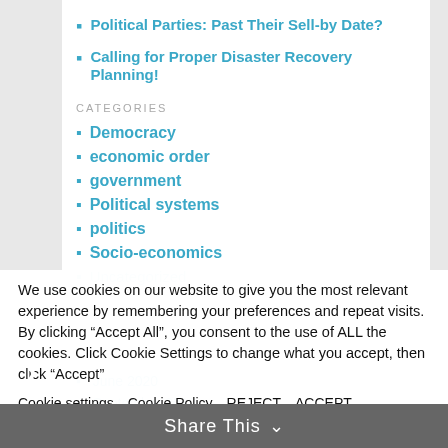Political Parties: Past Their Sell-by Date?
Calling for Proper Disaster Recovery Planning!
CATEGORIES
Democracy
economic order
government
Political systems
politics
Socio-economics
Uncategorized
We use cookies on our website to give you the most relevant experience by remembering your preferences and repeat visits. By clicking “Accept All”, you consent to the use of ALL the cookies. Click Cookie Settings to change what you accept, then click “Accept”
Cookie settings   Cookie Policy   REJECT   ACCEPT
Accept All
Share This